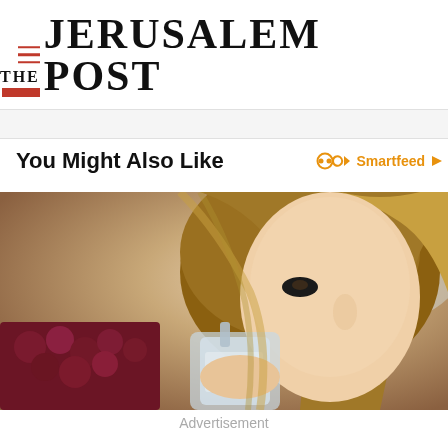THE JERUSALEM POST
You Might Also Like
[Figure (photo): Woman drinking from a mason jar with a straw, blonde hair, blurred background with berries and produce visible]
Advertisement